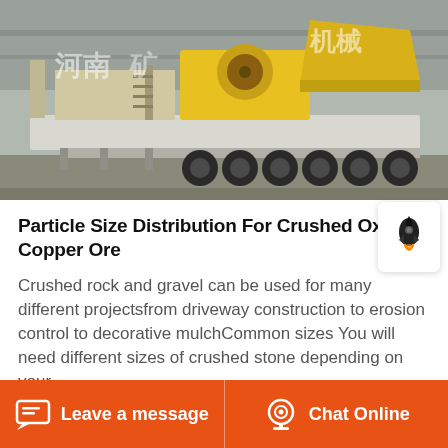[Figure (photo): A large yellow mobile crushing plant on a multi-axle trailer inside an industrial warehouse. Chinese text watermarks visible. Heavy machinery with conveyor belts and jaw crusher visible.]
Particle Size Distribution For Crushed Oxide Copper Ore
Crushed rock and gravel can be used for many different projectsfrom driveway construction to erosion control to decorative mulchCommon sizes You will need different sizes of crushed stone depending on your
Leave a message   Chat Online